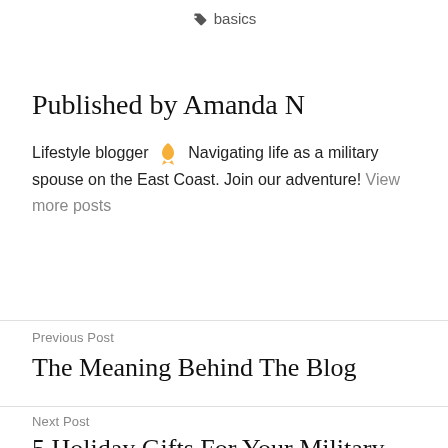basics
Published by Amanda N
Lifestyle blogger 🎗 Navigating life as a military spouse on the East Coast. Join our adventure! View more posts
Previous Post
The Meaning Behind The Blog
Next Post
5 Holiday Gifts For Your Military